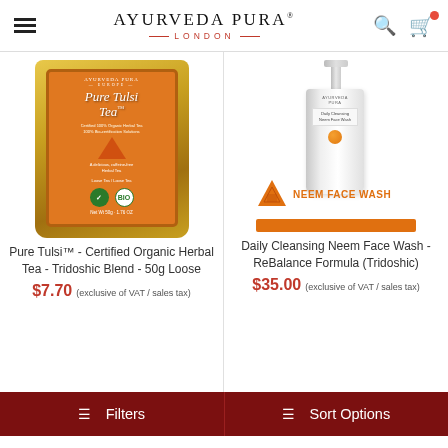Ayurveda Pura London
[Figure (photo): Pure Tulsi Tea product bag - gold foil bag with orange label reading Pure Tulsi Tea, certified 100% organic herbal tea]
[Figure (photo): Daily Cleansing Neem Face Wash bottle - white pump bottle with Neem Face Wash branding and orange triangle logo]
Pure Tulsi™ - Certified Organic Herbal Tea - Tridoshic Blend - 50g Loose
Daily Cleansing Neem Face Wash - ReBalance Formula (Tridoshic)
$7.70 (exclusive of VAT / sales tax)
$35.00 (exclusive of VAT / sales tax)
Filters   Sort Options